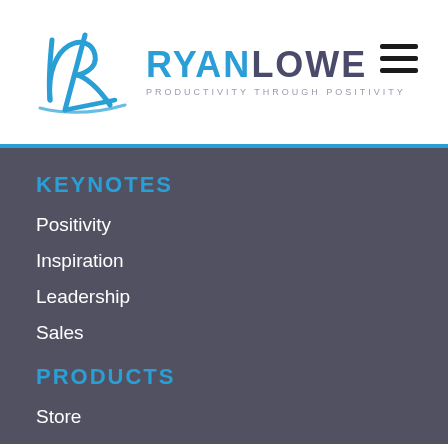[Figure (logo): Ryan Lowe logo with stylized RL monogram in blue and text RYANLOWE with tagline PRODUCTIVITY THROUGH POSITIVITY]
KEYNOTES
Positivity
Inspiration
Leadership
Sales
PRODUCTS
Store
Privacy